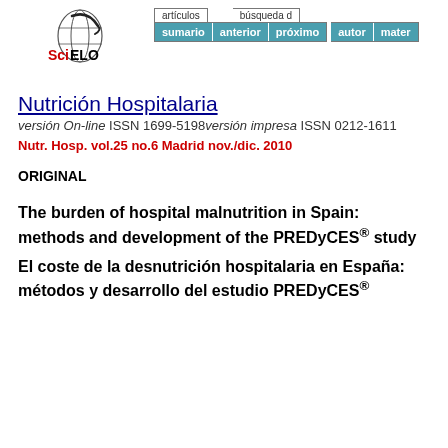[Figure (logo): SciELO logo with stylized globe graphic and red/black text]
artículos | sumario | anterior | próximo | búsqueda de | autor | mater
Nutrición Hospitalaria
versión On-line ISSN 1699-5198versión impresa ISSN 0212-1611
Nutr. Hosp. vol.25 no.6 Madrid nov./dic. 2010
ORIGINAL
The burden of hospital malnutrition in Spain: methods and development of the PREDyCES® study
El coste de la desnutrición hospitalaria en España: métodos y desarrollo del estudio PREDyCES®